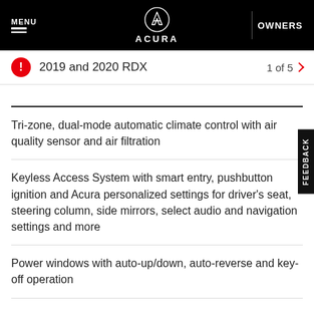MENU | ACURA | OWNERS
2019 and 2020 RDX
1 of 5
Tri-zone, dual-mode automatic climate control with air quality sensor and air filtration
Keyless Access System with smart entry, pushbutton ignition and Acura personalized settings for driver's seat, steering column, side mirrors, select audio and navigation settings and more
Power windows with auto-up/down, auto-reverse and key-off operation